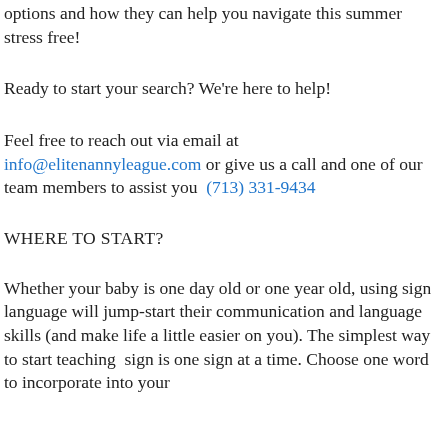options and how they can help you navigate this summer stress free!
Ready to start your search? We're here to help!
Feel free to reach out via email at info@elitenannyleague.com or give us a call and one of our team members to assist you  (713) 331-9434
WHERE TO START?
Whether your baby is one day old or one year old, using sign language will jump-start their communication and language skills (and make life a little easier on you). The simplest way to start teaching  sign is one sign at a time. Choose one word to incorporate into your